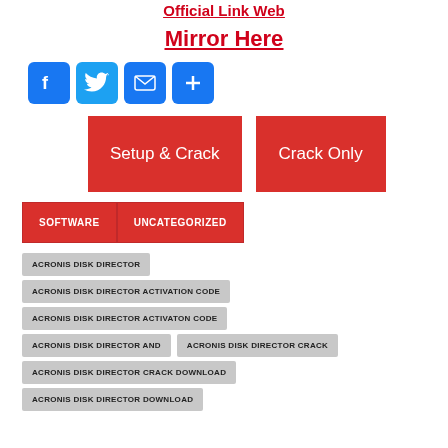Official Link Web
Mirror Here
[Figure (infographic): Social share buttons: Facebook, Twitter, Email, Share]
[Figure (infographic): Two red download buttons: Setup & Crack, Crack Only]
SOFTWARE
UNCATEGORIZED
ACRONIS DISK DIRECTOR
ACRONIS DISK DIRECTOR ACTIVATION CODE
ACRONIS DISK DIRECTOR ACTIVATON CODE
ACRONIS DISK DIRECTOR AND
ACRONIS DISK DIRECTOR CRACK
ACRONIS DISK DIRECTOR CRACK DOWNLOAD
ACRONIS DISK DIRECTOR DOWNLOAD